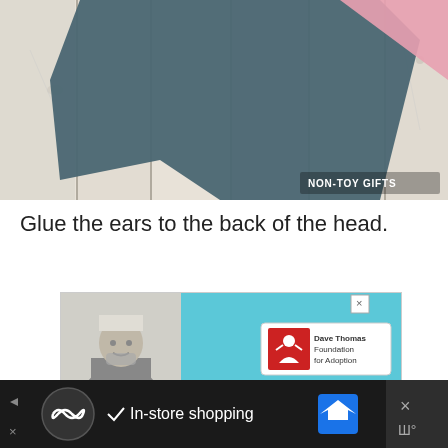[Figure (photo): Photo of teal/dark-gray paper shapes (ear-like forms) on a whitewashed wood plank background, with a small pink triangle shape in top right. Watermark 'NON-TOY GIFTS' in lower right.]
Glue the ears to the back of the head.
[Figure (other): Advertisement banner: photo of a person in winter clothes on the left, light blue background in the center, Dave Thomas Foundation for Adoption logo on the right with a close X button.]
[Figure (other): Bottom navigation bar (dark background): left arrow, X button, circular icon with infinity symbol, checkmark with 'In-store shopping' text, Google Maps diamond icon, right-side close panel with X and Ш°.]